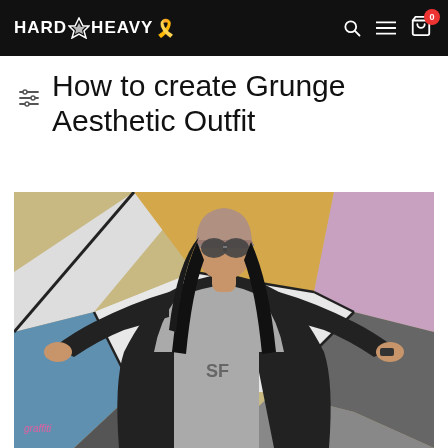HARD N HEAVY [logo] 0
How to create Grunge Aesthetic Outfit
[Figure (photo): A young woman with long black hair, wearing a pink/beige beanie, aviator sunglasses, a gray graphic sweatshirt and a black jacket, standing with arms spread wide in front of a colorful graffiti mural wall with geometric shapes in yellow, white, blue, pink/purple, and black.]